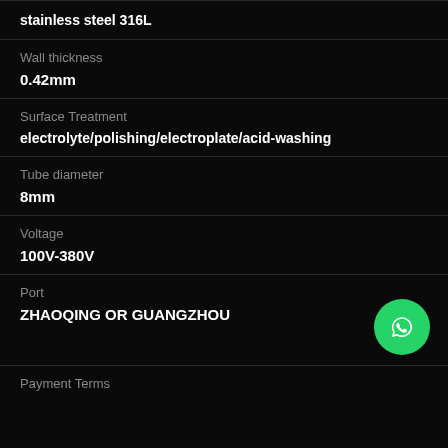stainless steel 316L
| Wall thickness | 0.42mm |
| Surface Treatment | electrolyte/polishing/electroplate/acid-washing |
| Tube diameter | 8mm |
| Voltage | 100V-380V |
| Port | ZHAOQING OR GUANGZHOU |
| Payment Terms |  |